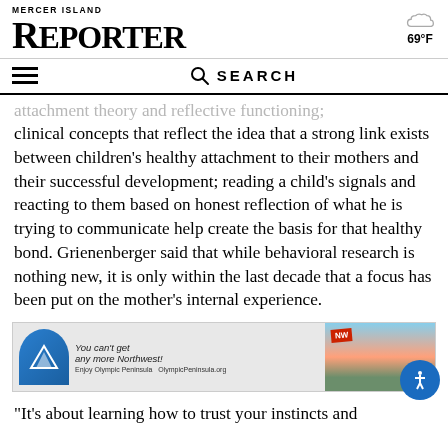MERCER ISLAND REPORTER
attachment theory and reflective functioning; clinical concepts that reflect the idea that a strong link exists between children's healthy attachment to their mothers and their successful development; reading a child's signals and reacting to them based on honest reflection of what he is trying to communicate help create the basis for that healthy bond. Grienenberger said that while behavioral research is nothing new, it is only within the last decade that a focus has been put on the mother's internal experience.
[Figure (infographic): Advertisement for Olympic Peninsula featuring logo, script text 'You can't get any more Northwest!', photo of scenic landscape, and text 'Enjoy Olympic Peninsula OlympicPeninsula.org']
“It’s about learning how to trust your instincts and